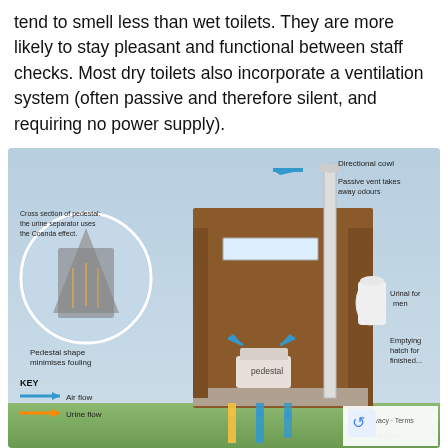tend to smell less than wet toilets. They are more likely to stay pleasant and functional between staff checks. Most dry toilets also incorporate a ventilation system (often passive and therefore silent, and requiring no power supply).
[Figure (engineering-diagram): Cross-section diagram of a dry toilet system showing: a pedestal with urine separator using the Coanda effect (circular inset), directional cowl at top of passive vent pipe, passive vent takes away odours, pedestal shape minimises fouling, urinal for men, emptying hatch, air flow (blue arrows) and urine flow (orange arrows) key, urine drainage pipes at bottom leading to 'To urine' collection.]